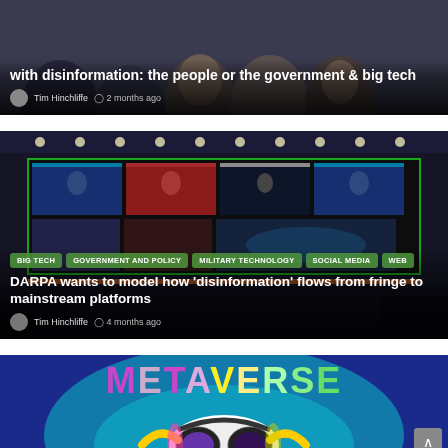[Figure (photo): Article card: photo of people at a hearing/event, with bold white title and author metadata overlay]
with disinformation: the people or the government & big tech
Tim Hinchliffe  2 months ago
[Figure (photo): Article card: photo of news monitors/screens in a broadcast studio with category tag pills and article title overlay]
BIG TECH  GOVERNMENT AND POLICY  MILITARY TECHNOLOGY  SOCIAL MEDIA  WEB
DARPA wants to model how 'disinformation' flows from fringe to mainstream platforms
Tim Hinchliffe  4 months ago
[Figure (photo): Article card: colorful Metaverse graphic with VR headset illustration on blue background]